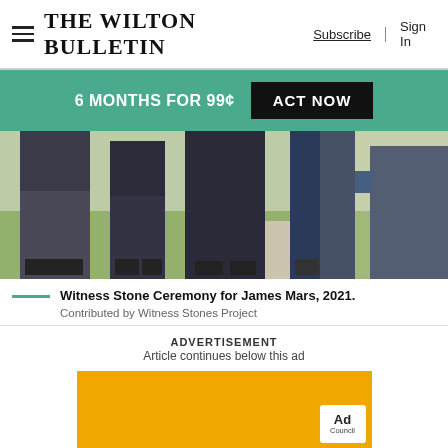The Wilton Bulletin | Subscribe | Sign In
6 MONTHS FOR 99¢  ACT NOW
[Figure (photo): Group of people standing outdoors at a Witness Stone Ceremony, lower bodies visible, 2021.]
Witness Stone Ceremony for James Mars, 2021.
Contributed by Witness Stones Project
ADVERTISEMENT
Article continues below this ad
[Figure (other): Ad Council advertisement banner with orange background and white Ad Council logo badge.]